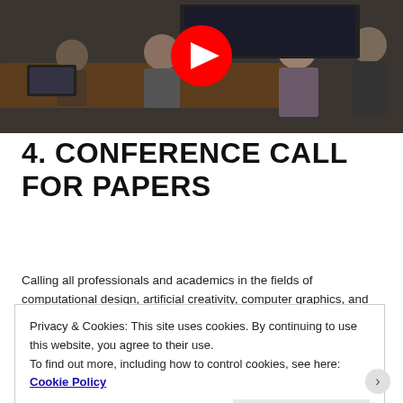[Figure (photo): A group of people in a meeting room around a table with a YouTube play button overlay on top of the image, indicating a video thumbnail.]
4. CONFERENCE CALL FOR PAPERS
Calling all professionals and academics in the fields of computational design, artificial creativity, computer graphics, and interactive techniques, computer-supported collaborative design, urban computing
Privacy & Cookies: This site uses cookies. By continuing to use this website, you agree to their use.
To find out more, including how to control cookies, see here: Cookie Policy
Close and accept